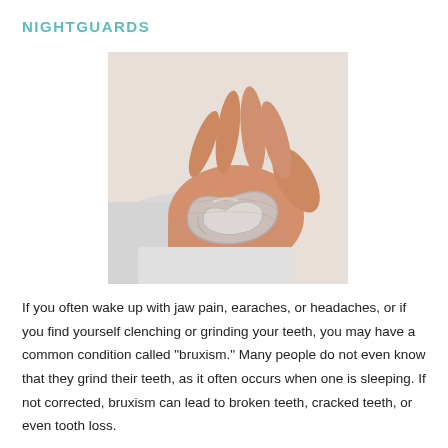NIGHTGUARDS
[Figure (photo): A hand outstretched palm-up holding a clear dental night guard/mouthguard. The person is wearing a white coat. The background is white.]
If you often wake up with jaw pain, earaches, or headaches, or if you find yourself clenching or grinding your teeth, you may have a common condition called “bruxism.” Many people do not even know that they grind their teeth, as it often occurs when one is sleeping. If not corrected, bruxism can lead to broken teeth, cracked teeth, or even tooth loss.